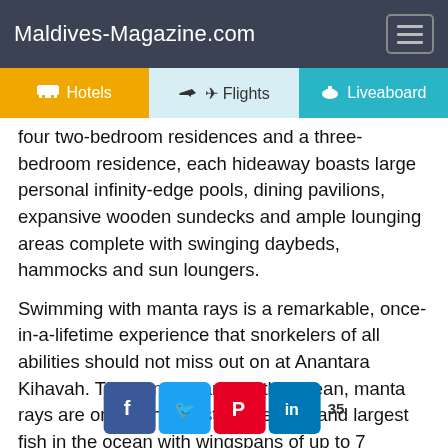Maldives-Magazine.com
four two-bedroom residences and a three-bedroom residence, each hideaway boasts large personal infinity-edge pools, dining pavilions, expansive wooden sundecks and ample lounging areas complete with swinging daybeds, hammocks and sun loungers.
Swimming with manta rays is a remarkable, once-in-a-lifetime experience that snorkelers of all abilities should not miss out on at Anantara Kihavah. The gentle giants of the ocean, manta rays are one of the most mysterious and largest fish in the ocean with wingspans of up to 7 metres. Anantara Kihavah Maldives Villas in the Maldives' Baa atoll offers one of the best opportunities to encounter these amazing cre… annual migration
[Figure (other): Social share buttons: Facebook, Twitter, Pinterest, LinkedIn with share count 35]